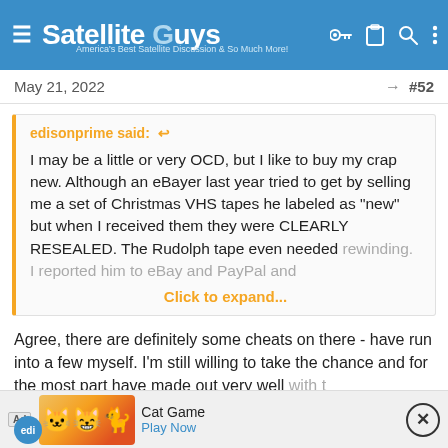Satellite Guys — America's Best Satellite Discussion & So Much More!
May 21, 2022  #52
edisonprime said: ↩

I may be a little or very OCD, but I like to buy my crap new. Although an eBayer last year tried to get by selling me a set of Christmas VHS tapes he labeled as "new" but when I received them they were CLEARLY RESEALED. The Rudolph tape even needed rewinding. I reported him to eBay and PayPal and
Click to expand...
Agree, there are definitely some cheats on there - have run into a few myself. I'm still willing to take the chance and for the most part have made out very well with t
[Figure (screenshot): Ad banner for Cat Game with cartoon cat characters, showing Play Now button]